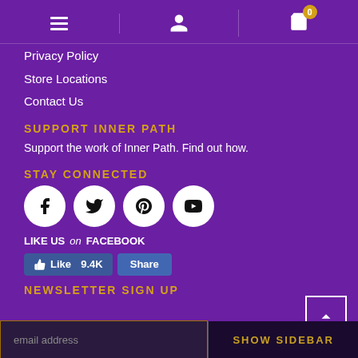Navigation icons: hamburger menu, user profile, shopping cart (0)
Privacy Policy
Store Locations
Contact Us
SUPPORT INNER PATH
Support the work of Inner Path. Find out how.
STAY CONNECTED
[Figure (infographic): Four social media icons: Facebook (f), Twitter (bird), Pinterest (P), YouTube (play button) as white circles on purple background]
LIKE US on FACEBOOK
[Figure (screenshot): Facebook Like button showing 9.4K and Share button]
NEWSLETTER SIGN UP
email address
SHOW SIDEBAR